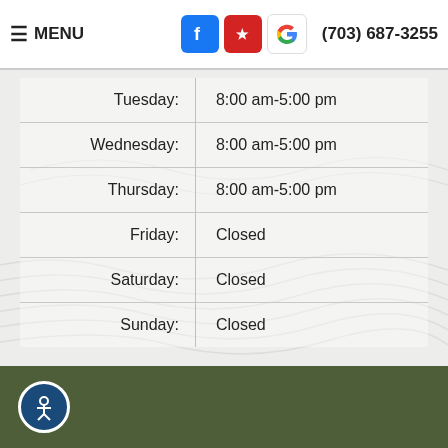≡ MENU  (703) 687-3255
| Day | Hours |
| --- | --- |
| Tuesday: | 8:00 am-5:00 pm |
| Wednesday: | 8:00 am-5:00 pm |
| Thursday: | 8:00 am-5:00 pm |
| Friday: | Closed |
| Saturday: | Closed |
| Sunday: | Closed |
Accessibility icon